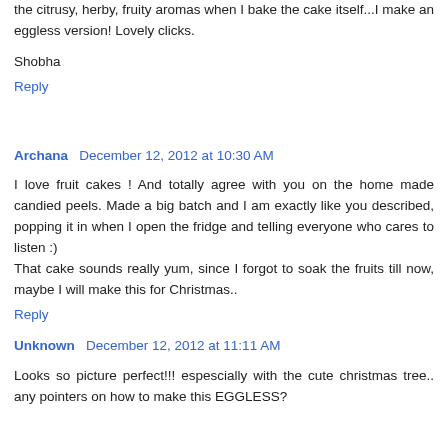the citrusy, herby, fruity aromas when I bake the cake itself...I make an eggless version! Lovely clicks.
Shobha
Reply
Archana  December 12, 2012 at 10:30 AM
I love fruit cakes ! And totally agree with you on the home made candied peels. Made a big batch and I am exactly like you described, popping it in when I open the fridge and telling everyone who cares to listen :)
That cake sounds really yum, since I forgot to soak the fruits till now, maybe I will make this for Christmas..
Reply
Unknown  December 12, 2012 at 11:11 AM
Looks so picture perfect!!! espescially with the cute christmas tree.. any pointers on how to make this EGGLESS?